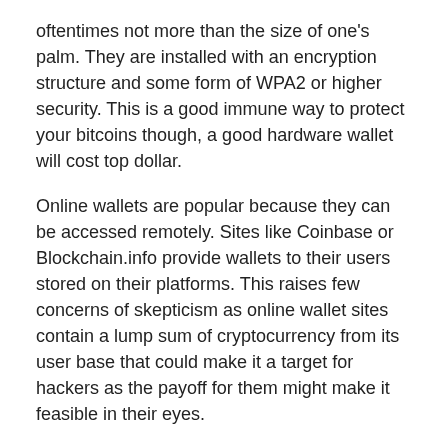oftentimes not more than the size of one's palm. They are installed with an encryption structure and some form of WPA2 or higher security. This is a good immune way to protect your bitcoins though, a good hardware wallet will cost top dollar.
Online wallets are popular because they can be accessed remotely. Sites like Coinbase or Blockchain.info provide wallets to their users stored on their platforms. This raises few concerns of skepticism as online wallet sites contain a lump sum of cryptocurrency from its user base that could make it a target for hackers as the payoff for them might make it feasible in their eyes.
The second one is, the user is halfway between his/her funds because of the continuous intervention of the e-wallet service provider.
2019 is round 2 at rewriting the virtual tax rulebook. With the inclusion of most scenarios that were unaddressed 5 years